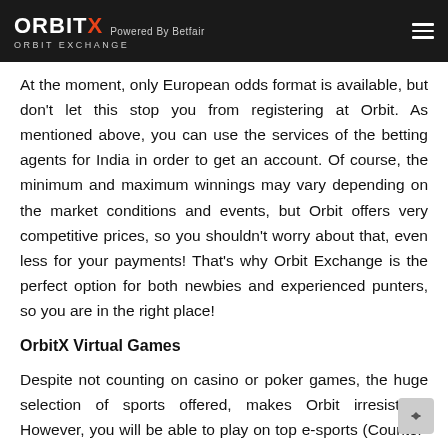ORBITX Powered By Betfair ORBIT EXCHANGE
At the moment, only European odds format is available, but don't let this stop you from registering at Orbit. As mentioned above, you can use the services of the betting agents for India in order to get an account. Of course, the minimum and maximum winnings may vary depending on the market conditions and events, but Orbit offers very competitive prices, so you shouldn't worry about that, even less for your payments! That's why Orbit Exchange is the perfect option for both newbies and experienced punters, so you are in the right place!
OrbitX Virtual Games
Despite not counting on casino or poker games, the huge selection of sports offered, makes Orbit irresistible. However, you will be able to play on top e-sports (Counter-Strike for example) and make